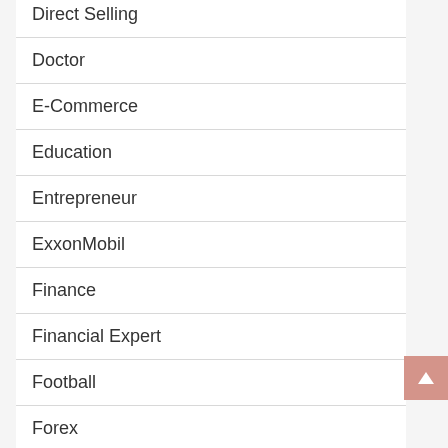Direct Selling
Doctor
E-Commerce
Education
Entrepreneur
ExxonMobil
Finance
Financial Expert
Football
Forex
Gaming
Government And Politics